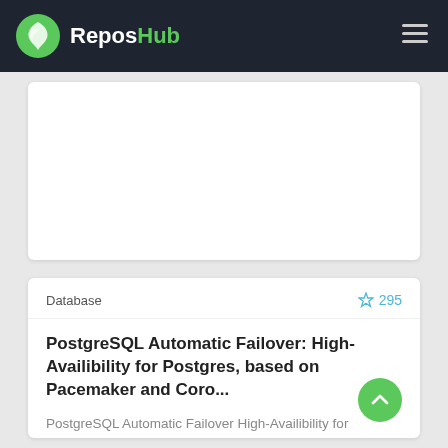ReposHub
Database  ☆ 295
PostgreSQL Automatic Failover: High-Availibility for Postgres, based on Pacemaker and Coro...
PostgreSQL Automatic Failover High-Availibility for Postgres, based on industry references Pacemaker and Corosync. Description Pacemaker is nowadays t